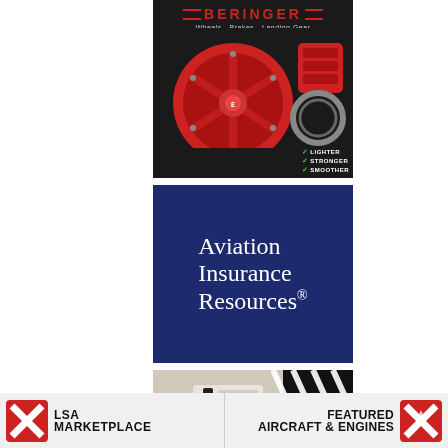[Figure (advertisement): Beringer Wheels - Brakes - Landing Gear advertisement showing a red aviation wheel and brake caliper with text LIGHTER, STRONGER, SMOOTHER]
[Figure (advertisement): Aviation Insurance Resources advertisement with dark navy blue background and white serif text]
[Figure (advertisement): Partial third advertisement showing aviation equipment with black and white diagonal stripes]
[Figure (logo): LSA Marketplace logo with red X cross icon]
[Figure (logo): Featured Aircraft & Engines logo with red X cross icon]